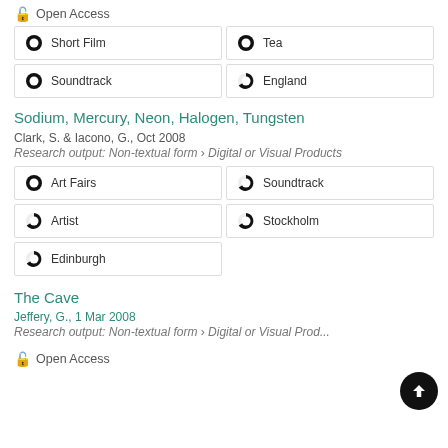Open Access
[Figure (infographic): Keyword badges with donut/percentage icons: Short Film (100%), Tea (100%), Soundtrack (100%), England (75%)]
Sodium, Mercury, Neon, Halogen, Tungsten
Clark, S. & Iacono, G., Oct 2008
Research output: Non-textual form › Digital or Visual Products
[Figure (infographic): Keyword badges with donut/percentage icons: Art Fairs (100%), Soundtrack (75%), Artist (75%), Stockholm (75%), Edinburgh (75%)]
The Cave
Jeffery, G., 1 Mar 2008
Research output: Non-textual form › Digital or Visual Prod...
Open Access